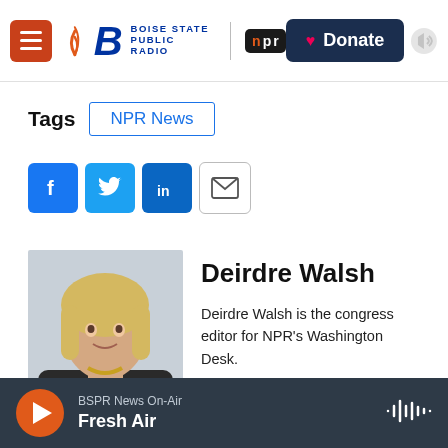Boise State Public Radio | NPR | Donate
Tags  NPR News
[Figure (other): Social sharing icons: Facebook, Twitter, LinkedIn, Email]
Deirdre Walsh
Deirdre Walsh is the congress editor for NPR's Washington Desk.
See stories by Deirdre Walsh
BSPR News On-Air  Fresh Air